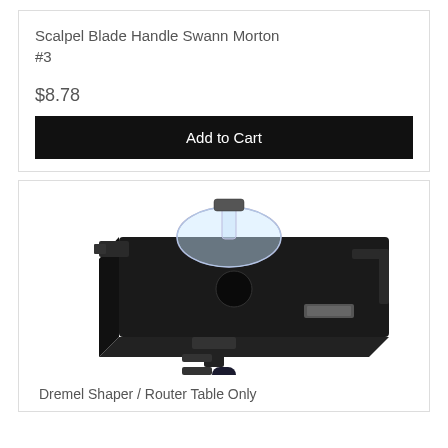Scalpel Blade Handle Swann Morton #3
$8.78
Add to Cart
[Figure (photo): Dremel Shaper/Router Table Only - a black router table attachment with clear guard and Dremel rotary tool mounted below]
Dremel Shaper / Router Table Only